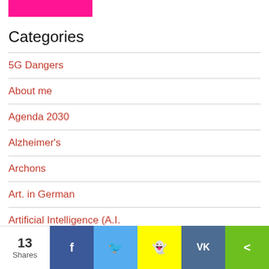[Figure (other): Pink/magenta banner at top left]
Categories
5G Dangers
About me
Agenda 2030
Alzheimer's
Archons
Art. in German
Artificial Intelligence (A.I.
13 Shares  Facebook  Twitter  Snapchat  VK  Share